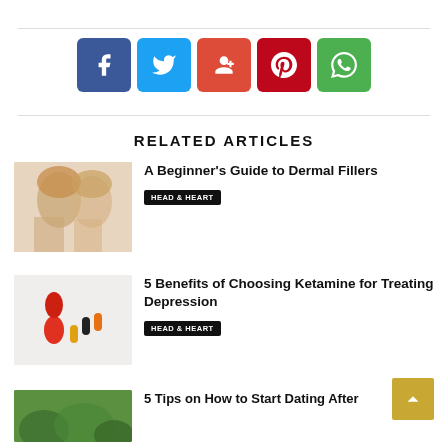[Figure (infographic): Social share buttons row: Facebook (blue), Twitter (light blue), Google+ (orange-red), Pinterest (dark red), WhatsApp (green)]
RELATED ARTICLES
[Figure (photo): Two women in profile facing each other, blonde hair, beauty/skin care context]
A Beginner’s Guide to Dermal Fillers
HEAD & HEART
[Figure (photo): Pills and berries/supplements on white background]
5 Benefits of Choosing Ketamine for Treating Depression
HEAD & HEART
[Figure (photo): Green nature/plant background thumbnail]
5 Tips on How to Start Dating After